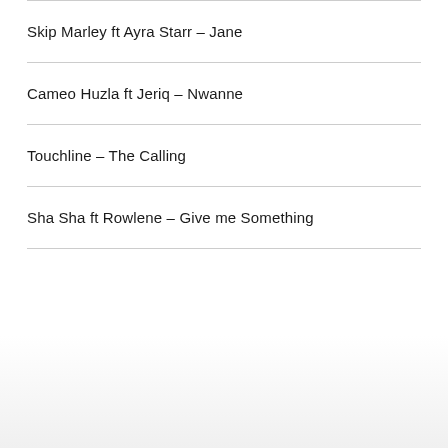Skip Marley ft Ayra Starr – Jane
Cameo Huzla ft Jeriq – Nwanne
Touchline – The Calling
Sha Sha ft Rowlene – Give me Something